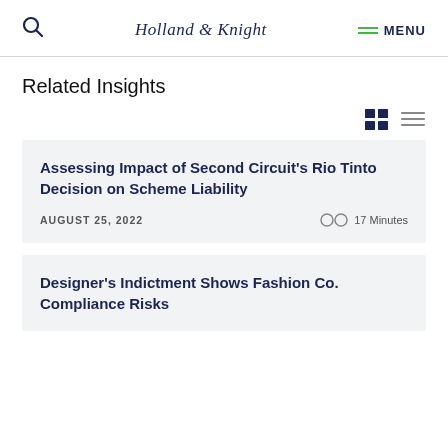Holland & Knight
Related Insights
Assessing Impact of Second Circuit's Rio Tinto Decision on Scheme Liability
AUGUST 25, 2022  17 Minutes
Designer's Indictment Shows Fashion Co. Compliance Risks